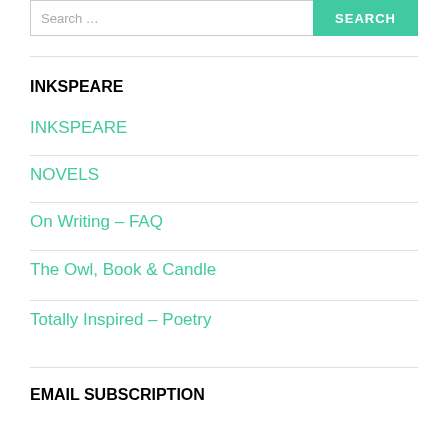Search …
INKSPEARE
INKSPEARE
NOVELS
On Writing – FAQ
The Owl, Book & Candle
Totally Inspired – Poetry
EMAIL SUBSCRIPTION